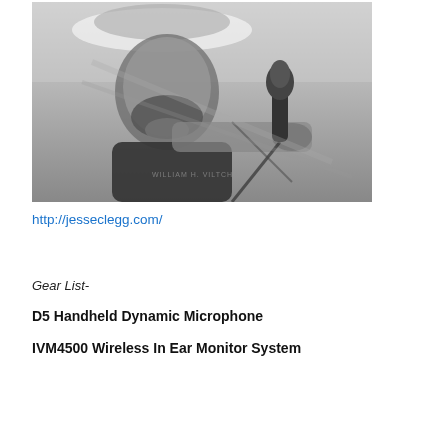[Figure (photo): Black and white photo of a male musician with a beard wearing a hat, looking down while holding a handheld dynamic microphone at a stand. He appears to be performing or preparing to perform.]
http://jesseclegg.com/
Gear List-
D5 Handheld Dynamic Microphone
IVM4500 Wireless In Ear Monitor System